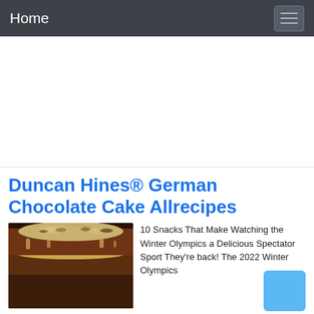Home
[Figure (other): Advertisement area (blank white space)]
Duncan Hines® German Chocolate Cake Allrecipes
[Figure (photo): Photo of a German chocolate cake with coconut-pecan frosting on top, showing layered chocolate cake]
10 Snacks That Make Watching the Winter Olympics a Delicious Spectator Sport They're back! The 2022 Winter Olympics